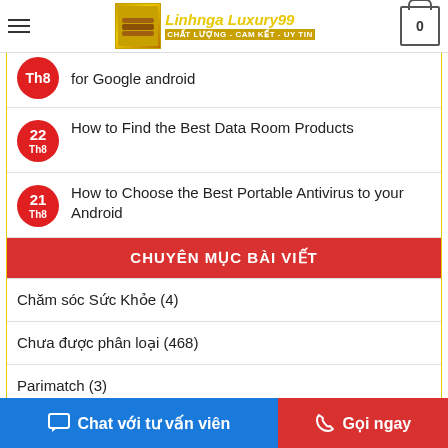Linhnga Luxury99 - CHẤT LƯỢNG - CAM KẾT - UY TIN
for Google android
22 Th8 - How to Find the Best Data Room Products
21 Th8 - How to Choose the Best Portable Antivirus to your Android
CHUYÊN MỤC BÀI VIẾT
Chăm sóc Sức Khỏe (4)
Chưa được phân loại (468)
Parimatch (3)
Chat với tư vấn viên | Gọi ngay